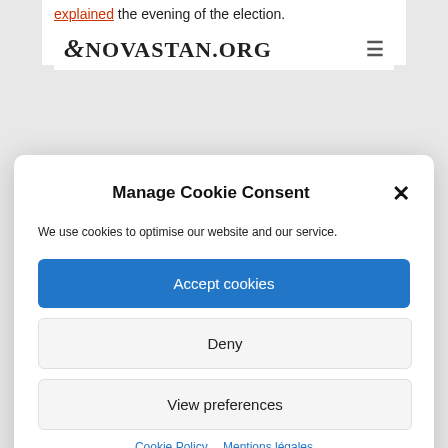explained the evening of the election. He added that his party should have received significantly more votes.
NOVASTAN.ORG
Manage Cookie Consent
We use cookies to optimise our website and our service.
Accept cookies
Deny
View preferences
Cookie Policy   Mentions légales
The anger of the protesters is now directed on the one hand against the government and parties, on the other